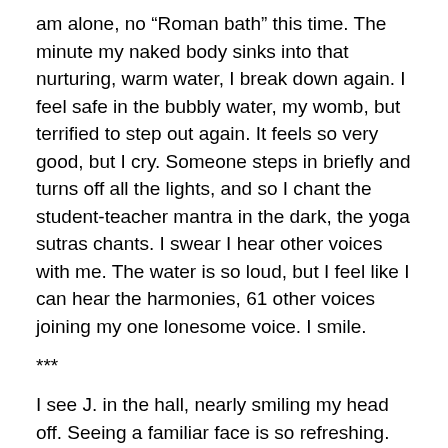am alone, no “Roman bath” this time. The minute my naked body sinks into that nurturing, warm water, I break down again. I feel safe in the bubbly water, my womb, but terrified to step out again. It feels so very good, but I cry. Someone steps in briefly and turns off all the lights, and so I chant the student-teacher mantra in the dark, the yoga sutras chants. I swear I hear other voices with me. The water is so loud, but I feel like I can hear the harmonies, 61 other voices joining my one lonesome voice. I smile.
***
I see J. in the hall, nearly smiling my head off. Seeing a familiar face is so refreshing. We share sob stories. K. is still in 129, and I smile again. The last remaining sisters, the final crew of Kickasana geese. Their presence here alone is gratifying.